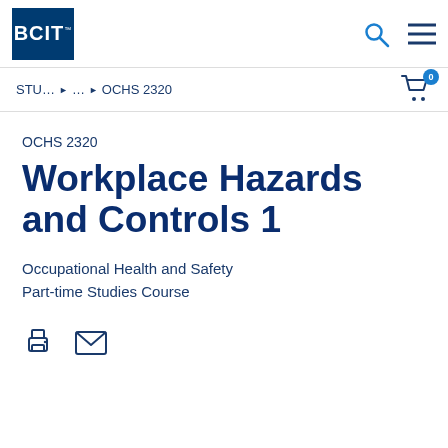[Figure (logo): BCIT logo — white text on dark blue square background with trademark symbol]
STU... ▶ … ▶ OCHS 2320
OCHS 2320
Workplace Hazards and Controls 1
Occupational Health and Safety
Part-time Studies Course